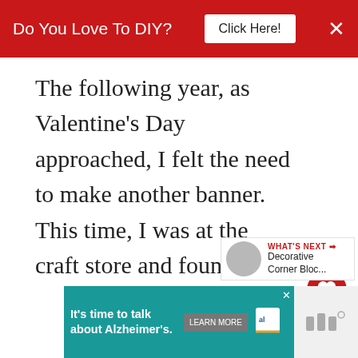Do You Love To DIY?  Click Here!  ×
The following year, as Valentine's Day approached, I felt the need to make another banner. This time, I was at the craft store and found these darling notecards in the dollar bins.
Stringing them up took me about ten minutes and I was all set for the
[Figure (infographic): WHAT'S NEXT arrow label with 'Decorative Corner Bloc...' thumbnail next item widget]
[Figure (infographic): Bottom advertisement: It's time to talk about Alzheimer's. LEARN MORE button, Alzheimer's Association logo, close X button]